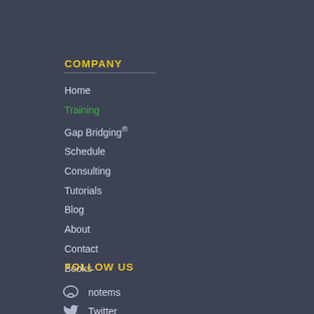COMPANY
Home
Training
Gap Bridging®
Schedule
Consulting
Tutorials
Blog
About
Contact
Books
FOLLOW US
notems
Twitter
Facebook